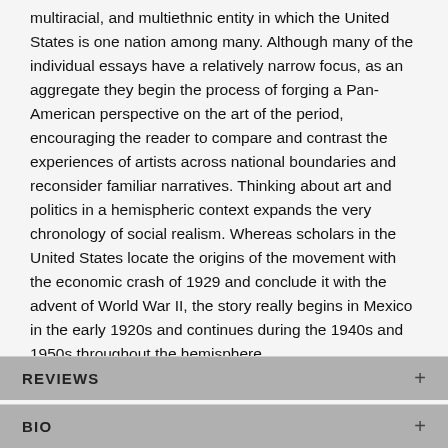multiracial, and multiethnic entity in which the United States is one nation among many. Although many of the individual essays have a relatively narrow focus, as an aggregate they begin the process of forging a Pan-American perspective on the art of the period, encouraging the reader to compare and contrast the experiences of artists across national boundaries and reconsider familiar narratives. Thinking about art and politics in a hemispheric context expands the very chronology of social realism. Whereas scholars in the United States locate the origins of the movement with the economic crash of 1929 and conclude it with the advent of World War II, the story really begins in Mexico in the early 1920s and continues during the 1940s and 1950s throughout the hemisphere.
REVIEWS
BIO